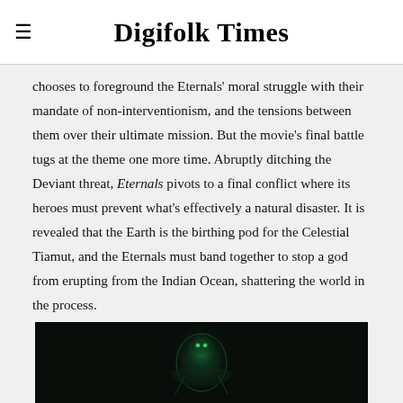Digifolk Times
chooses to foreground the Eternals' moral struggle with their mandate of non-interventionism, and the tensions between them over their ultimate mission. But the movie's final battle tugs at the theme one more time. Abruptly ditching the Deviant threat, Eternals pivots to a final conflict where its heroes must prevent what's effectively a natural disaster. It is revealed that the Earth is the birthing pod for the Celestial Tiamut, and the Eternals must band together to stop a god from erupting from the Indian Ocean, shattering the world in the process.
[Figure (photo): Dark scene from the movie Eternals showing a glowing figure]